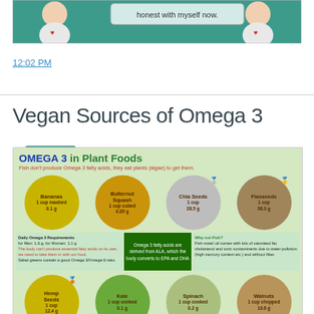[Figure (illustration): Top portion of an illustration showing two figures with red hearts on their chests, speech bubble saying 'honest with myself now.' on a teal background.]
12:02 PM
Share
Vegan Sources of Omega 3
[Figure (infographic): Infographic titled 'OMEGA 3 in Plant Foods' showing plant-based sources of Omega 3 fatty acids including Bananas (1 cup mashed, 0.1g), Butternut Squash (1 cup cubed, 0.05g), Chia Seeds (1 cup, 28.5g), Flaxseeds (1 cup, 38.3g), Hemp Seeds (1 cup, 12.4g), Kale (1 cup cooked, 0.1g), Spinach (1 cup cooked, 0.2g), Walnuts (1 cup chopped, 10.6g). Also includes information panels about daily Omega 3 requirements, ALA conversion, and why not fish.]